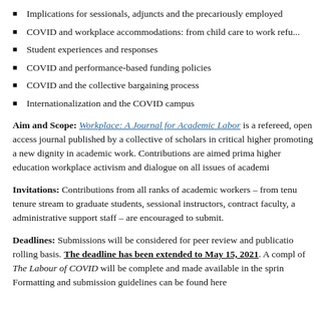Implications for sessionals, adjuncts and the precariously employed
COVID and workplace accommodations: from child care to work refu...
Student experiences and responses
COVID and performance-based funding policies
COVID and the collective bargaining process
Internationalization and the COVID campus
Aim and Scope: Workplace: A Journal for Academic Labor is a refereed, open access journal published by a collective of scholars in critical higher promoting a new dignity in academic work. Contributions are aimed prima higher education workplace activism and dialogue on all issues of academi
Invitations: Contributions from all ranks of academic workers – from tenu tenure stream to graduate students, sessional instructors, contract faculty, a administrative support staff – are encouraged to submit.
Deadlines: Submissions will be considered for peer review and publicatio rolling basis. The deadline has been extended to May 15, 2021. A compl of The Labour of COVID will be complete and made available in the sprin Formatting and submission guidelines can be found here